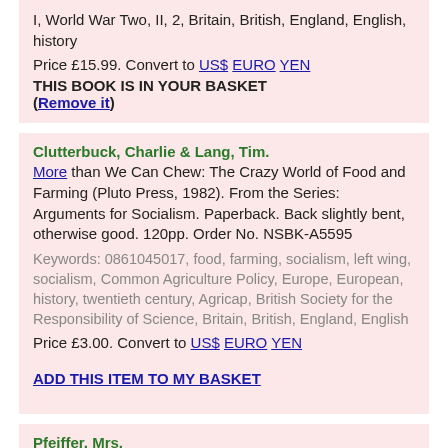I, World War Two, II, 2, Britain, British, England, English, history
Price £15.99. Convert to US$ EURO YEN
THIS BOOK IS IN YOUR BASKET (Remove it)
Clutterbuck, Charlie & Lang, Tim. More than We Can Chew: The Crazy World of Food and Farming (Pluto Press, 1982). From the Series: Arguments for Socialism. Paperback. Back slightly bent, otherwise good. 120pp. Order No. NSBK-A5595
Keywords: 0861045017, food, farming, socialism, left wing, socialism, Common Agriculture Policy, Europe, European, history, twentieth century, Agricap, British Society for the Responsibility of Science, Britain, British, England, English
Price £3.00. Convert to US$ EURO YEN
ADD THIS ITEM TO MY BASKET
Pfeiffer, Mrs.
Women and Work: An Essay Treating on The Relation to Health and Physical Development of the